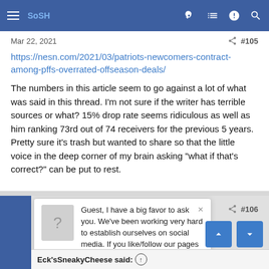SoSH (navigation bar with hamburger menu, logo, and icons)
Mar 22, 2021    < #105
https://nesn.com/2021/03/patriots-newcomers-contract-among-pffs-overrated-offseason-deals/
The numbers in this article seem to go against a lot of what was said in this thread. I’m not sure if the writer has terrible sources or what? 15% drop rate seems ridiculous as well as him ranking 73rd out of 74 receivers for the previous 5 years. Pretty sure it’s trash but wanted to share so that the little voice in the deep corner of my brain asking “what if that’s correct?” can be put to rest.
[Figure (screenshot): Popup overlay with question mark avatar and text: Guest, I have a big favor to ask you. We've been working very hard to establish ourselves on social media. If you like/follow our pages it would be a HUGE help to us. SoSH on Facebook and Inside the Pylon Thanks! Nip]
Eck’sSneakyCheese said: ⓘ